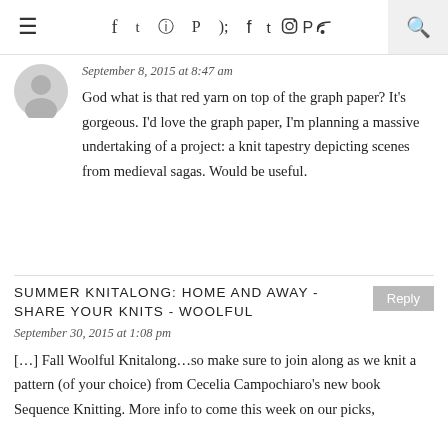≡  f  ✦  ✦  ✦  ✦  🔍
September 8, 2015 at 8:47 am
God what is that red yarn on top of the graph paper? It's gorgeous. I'd love the graph paper, I'm planning a massive undertaking of a project: a knit tapestry depicting scenes from medieval sagas. Would be useful.
SUMMER KNITALONG: HOME AND AWAY - SHARE YOUR KNITS - WOOLFUL
September 30, 2015 at 1:08 pm
[…] Fall Woolful Knitalong…so make sure to join along as we knit a pattern (of your choice) from Cecelia Campochiaro's new book Sequence Knitting. More info to come this week on our picks,